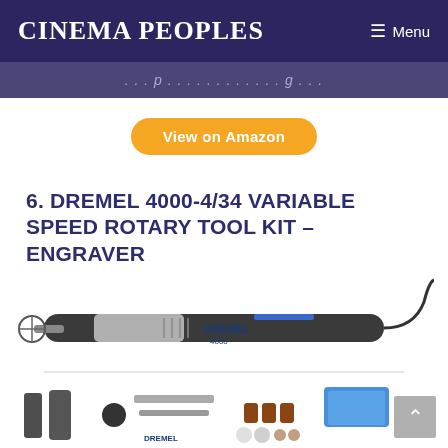Cinema Peoples | Menu
[partial italic text — cropped page title/navigation]
View on Amazon
6. DREMEL 4000-4/34 VARIABLE SPEED ROTARY TOOL KIT – ENGRAVER
[Figure (photo): Photo of Dremel 4000 variable speed rotary tool, black and silver, with a cutting disc attached, against a white background.]
[Figure (photo): Photo of Dremel 4000 accessory kit including attachments, sanding drums, polishing wheels, and a blue storage case.]